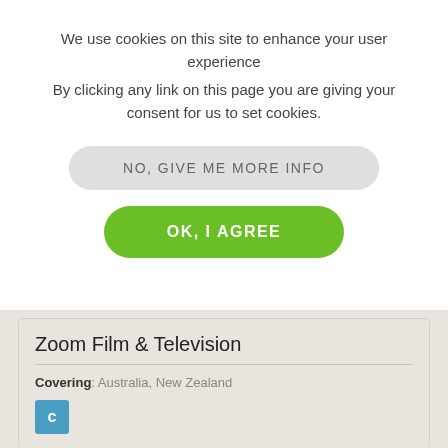We use cookies on this site to enhance your user experience
By clicking any link on this page you are giving your consent for us to set cookies.
NO, GIVE ME MORE INFO
OK, I AGREE
Zoom Film & Television
Covering: Australia, New Zealand
Lock, Stock & Barrell